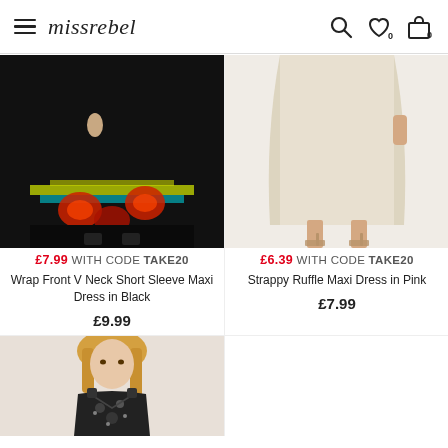missrebel
[Figure (photo): Model wearing Wrap Front V Neck Short Sleeve Maxi Dress in Black - close-up of lower half showing floral print hem]
£7.99 WITH CODE TAKE20
Wrap Front V Neck Short Sleeve Maxi Dress in Black
£9.99
[Figure (photo): Model wearing Strappy Ruffle Maxi Dress in Pink - full length cream/pink dress with heeled sandals]
£6.39 WITH CODE TAKE20
Strappy Ruffle Maxi Dress in Pink
£7.99
[Figure (photo): Model wearing a dark patterned dress - upper body shot showing blonde model in embellished v-neck dress]